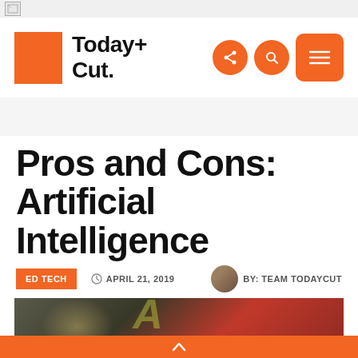[Figure (screenshot): Browser top bar with broken image icon]
[Figure (logo): Today+Cut. logo with orange square and bold text, plus share, search, and menu icons]
Pros and Cons: Artificial Intelligence
ED TECH   APRIL 21, 2019   BY: TEAM TODAYCUT
[Figure (photo): Hero image with blurred person and colorful background in red/dark tones with stylized letter A]